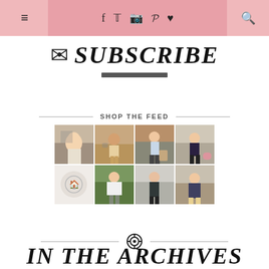Navigation bar with hamburger menu, social icons (f, twitter, instagram, pinterest, heart), and search icon
[Figure (illustration): Subscribe heading with envelope icon and italic bold SUBSCRIBE text with dark underline bar]
SHOP THE FEED
[Figure (photo): 2x4 grid of fashion lifestyle photos showing women in various outfits]
[Figure (logo): LikeToKnow.it circular logo icon with divider lines on each side]
IN THE ARCHIVES